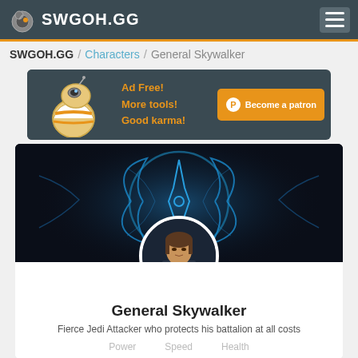SWGOH.GG
SWGOH.GG / Characters / General Skywalker
[Figure (infographic): Ad banner: BB-8 droid image with text 'Ad Free! More tools! Good karma!' and orange 'Become a patron' button with Patreon icon]
[Figure (illustration): General Skywalker character page banner with blue glowing Jedi/Rebel symbol on dark background, and circular portrait of Anakin Skywalker at bottom center]
General Skywalker
Fierce Jedi Attacker who protects his battalion at all costs
Power   Speed   Health